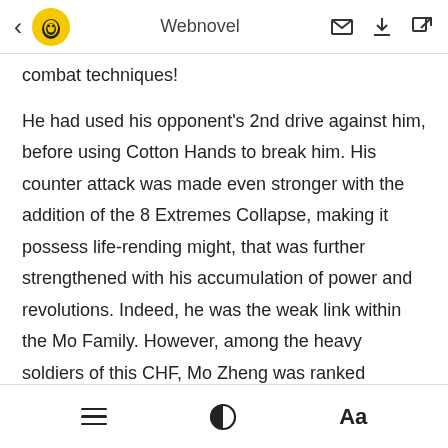Webnovel
combat techniques!
He had used his opponent's 2nd drive against him, before using Cotton Hands to break him. His counter attack was made even stronger with the addition of the 8 Extremes Collapse, making it possess life-rending might, that was further strengthened with his accumulation of power and revolutions. Indeed, he was the weak link within the Mo Family. However, among the heavy soldiers of this CHF, Mo Zheng was ranked number one or two in terms of combat technique precision. As for Barran, who was type of heavy soldier who did not possess any divine talent, how could he
≡  ◐  Aa